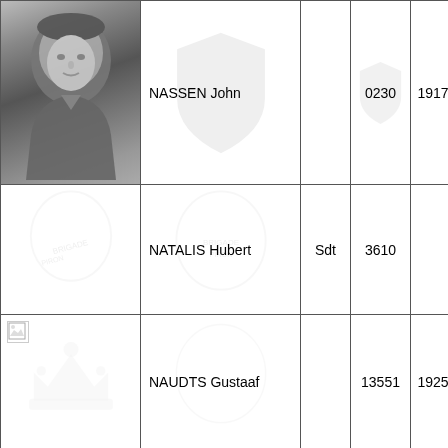| Photo | Name | Rank | Number | Year | Unit |
| --- | --- | --- | --- | --- | --- |
| [photo] | NASSEN John |  | 0230 | 1917 | 1 M… Coy |
| [no photo] | NATALIS Hubert | Sdt | 3610 |  | Staf… - Sig |
| [broken img] | NAUDTS Gustaaf |  | 13551 | 1925 | 3 Ba… Coy |